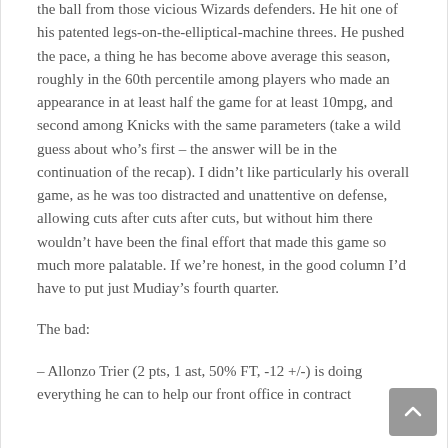the ball from those vicious Wizards defenders. He hit one of his patented legs-on-the-elliptical-machine threes. He pushed the pace, a thing he has become above average this season, roughly in the 60th percentile among players who made an appearance in at least half the game for at least 10mpg, and second among Knicks with the same parameters (take a wild guess about who's first – the answer will be in the continuation of the recap). I didn't like particularly his overall game, as he was too distracted and unattentive on defense, allowing cuts after cuts after cuts, but without him there wouldn't have been the final effort that made this game so much more palatable. If we're honest, in the good column I'd have to put just Mudiay's fourth quarter.
The bad:
– Allonzo Trier (2 pts, 1 ast, 50% FT, -12 +/-) is doing everything he can to help our front office in contract negotiations. After a mediocre few games...